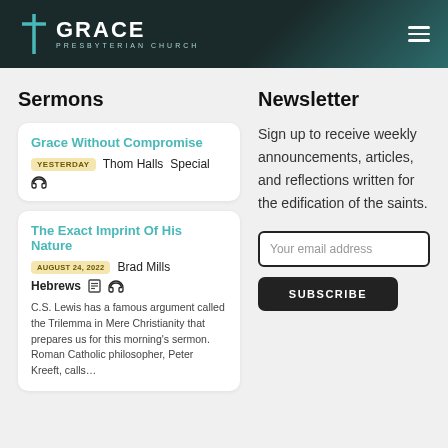GRACE PRESBYTERIAN CHURCH
Sermons
Grace Without Compromise
YESTERDAY  Thom Halls  Special
The Exact Imprint Of His Nature
AUGUST 24, 2022  Brad Mills
Hebrews
C.S. Lewis has a famous argument called the Trilemma in Mere Christianity that prepares us for this morning's sermon. Roman Catholic philosopher, Peter Kreeft, calls…
Newsletter
Sign up to receive weekly announcements, articles, and reflections written for the edification of the saints.
Your email address
SUBSCRIBE